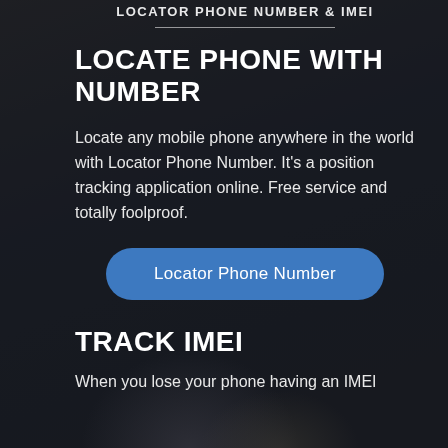LOCATOR PHONE NUMBER & IMEI
LOCATE PHONE WITH NUMBER
Locate any mobile phone anywhere in the world with Locator Phone Number. It's a position tracking application online. Free service and totally foolproof.
Locator Phone Number
TRACK IMEI
When you lose your phone having an IMEI